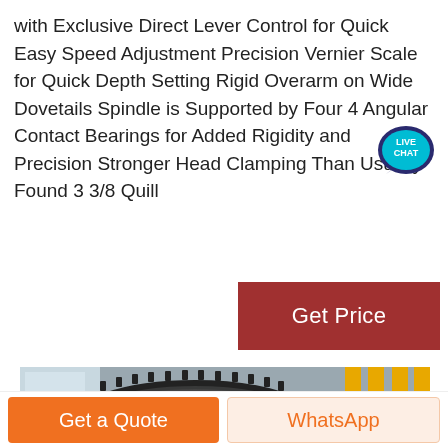with Exclusive Direct Lever Control for Quick Easy Speed Adjustment Precision Vernier Scale for Quick Depth Setting Rigid Overarm on Wide Dovetails Spindle is Supported by Four 4 Angular Contact Bearings for Added Rigidity and Precision Stronger Head Clamping Than Usually Found 3 3/8 Quill
[Figure (logo): Live Chat bubble badge with teal/dark blue speech bubble icon and white text 'LIVE CHAT']
[Figure (other): Get Price button — dark red/maroon rectangle with white text 'Get Price']
[Figure (photo): Industrial machinery photo showing large circular serrated gear or blade rings, metal components, yellow vertical pipes/bars in background]
Get a Quote
WhatsApp